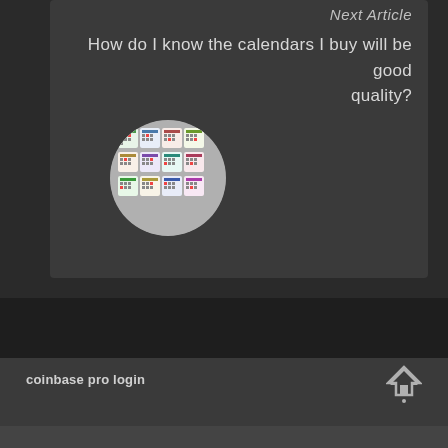Next Article
How do I know the calendars I buy will be good quality?
[Figure (photo): Circular thumbnail image showing a grid of colorful calendars]
coinbase pro login
[Figure (other): Scroll-to-top arrow icon]